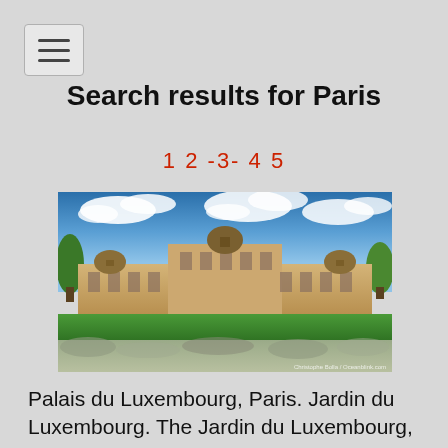[Figure (screenshot): Hamburger menu button (three horizontal lines) in top left corner]
Search results for Paris
1 2 -3- 4 5
[Figure (photo): Photo of Palais du Luxembourg, Paris with lawn and gardens in foreground. Credit: Christophe Bolla / Oceanblink.com]
Palais du Luxembourg, Paris. Jardin du Luxembourg. The Jardin du Luxembourg, or